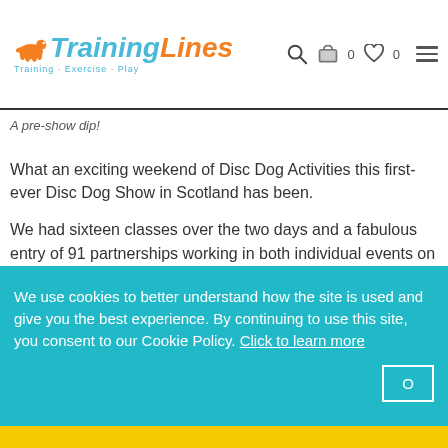TrainingLines — Training · Exercise · Play — nav header with search, cart (0), wishlist (0), hamburger menu
A pre-show dip!
What an exciting weekend of Disc Dog Activities this first-ever Disc Dog Show in Scotland has been.
We had sixteen classes over the two days and a fabulous entry of 91 partnerships working in both individual events on Saturday and team and pairs events on Sunday. This was a
We use cookies to better understand how the site is used and give you the best experience. By continuing to use this site, you consent to our Cookie Policy. Click to learn more